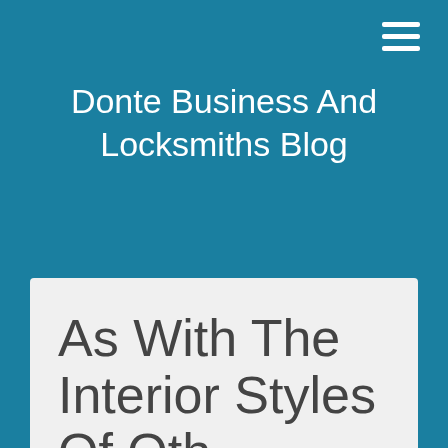Donte Business And Locksmiths Blog
As With The Interior Styles Of Oth...